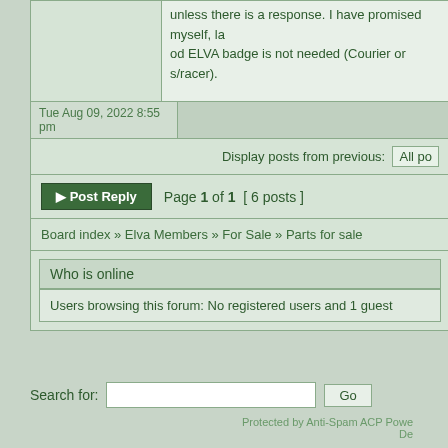unless there is a response. I have promised myself, la od ELVA badge is not needed (Courier or s/racer).
Tue Aug 09, 2022 8:55 pm
Display posts from previous: All po
Post Reply  Page 1 of 1  [ 6 posts ]
Board index » Elva Members » For Sale » Parts for sale
Who is online
Users browsing this forum: No registered users and 1 guest
Search for:
Protected by Anti-Spam ACP Powe De